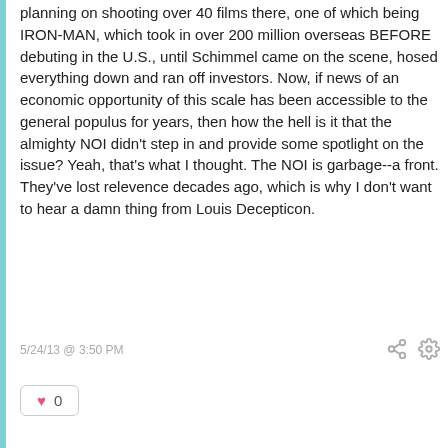planning on shooting over 40 films there, one of which being IRON-MAN, which took in over 200 million overseas BEFORE debuting in the U.S., until Schimmel came on the scene, hosed everything down and ran off investors. Now, if news of an economic opportunity of this scale has been accessible to the general populus for years, then how the hell is it that the almighty NOI didn't step in and provide some spotlight on the issue? Yeah, that's what I thought. The NOI is garbage--a front. They've lost relevence decades ago, which is why I don't want to hear a damn thing from Louis Decepticon.
5/24/13 @ 3:50 PM
0